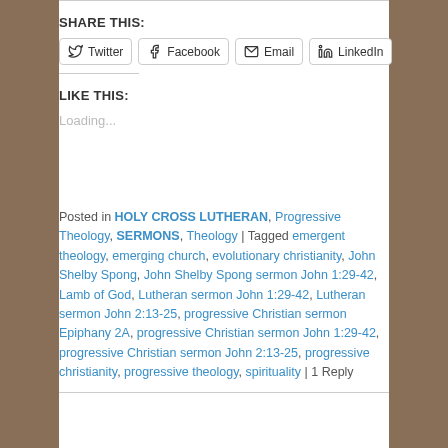SHARE THIS:
Twitter | Facebook | Email | LinkedIn
LIKE THIS:
Loading...
Posted in HOLY CROSS LUTHERAN, Progressive Theology, SERMONS, Theology | Tagged emergent theology, emerging church, evolutionary christianity, John Shelby Spong, John Shelby Spong sermon John 1:29-42, Lamb of God, Lutheran sermon John 1:29-42, Lutheran sermon John 2:13-25, progressive Christian sermon Epiphany 2A, progressive Christian sermon John 1:29-42, progressive Christian sermon John 2:13-25, progressive christianity, progressive theology, spirituality | 1 Reply